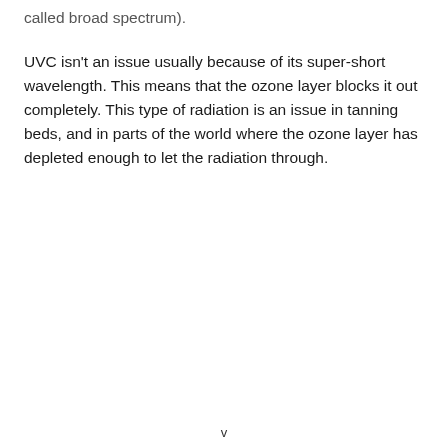called broad spectrum).
UVC isn't an issue usually because of its super-short wavelength. This means that the ozone layer blocks it out completely. This type of radiation is an issue in tanning beds, and in parts of the world where the ozone layer has depleted enough to let the radiation through.
v